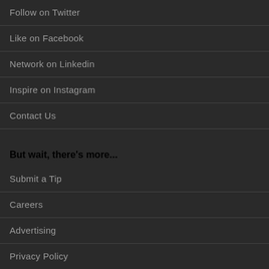Follow on Twitter
Like on Facebook
Network on Linkedin
Inspire on Instagram
Contact Us
But wait, there's more...
Submit a Tip
Careers
Advertising
Privacy Policy
Terms of Service